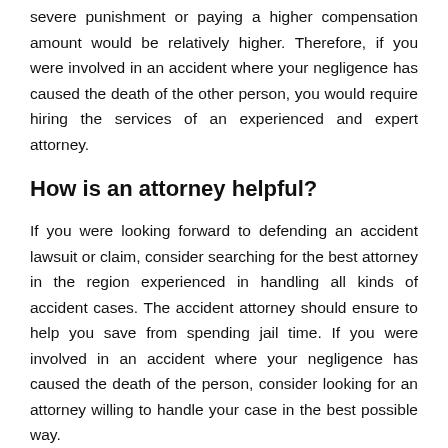severe punishment or paying a higher compensation amount would be relatively higher. Therefore, if you were involved in an accident where your negligence has caused the death of the other person, you would require hiring the services of an experienced and expert attorney.
How is an attorney helpful?
If you were looking forward to defending an accident lawsuit or claim, consider searching for the best attorney in the region experienced in handling all kinds of accident cases. The accident attorney should ensure to help you save from spending jail time. If you were involved in an accident where your negligence has caused the death of the person, consider looking for an attorney willing to handle your case in the best possible way.
The attorney you intend to hire should be competent to handle your case in the right way. The attorney should